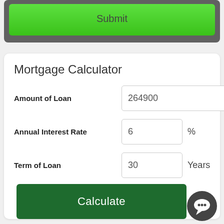[Figure (screenshot): Green Submit button on dark gray card background]
Mortgage Calculator
Amount of Loan: 264900
Annual Interest Rate: 6 %
Term of Loan: 30 Years
[Figure (other): Calculate button (dark green) and chat bubble icon overlay]